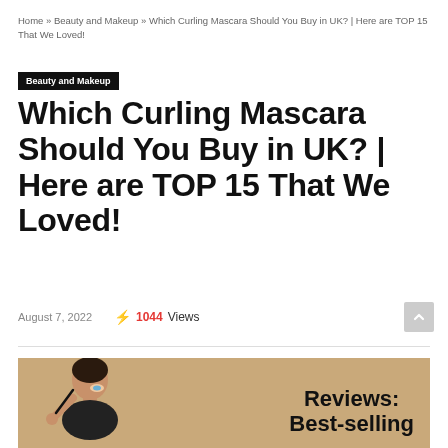Home » Beauty and Makeup » Which Curling Mascara Should You Buy in UK? | Here are TOP 15 That We Loved!
Beauty and Makeup
Which Curling Mascara Should You Buy in UK? | Here are TOP 15 That We Loved!
August 7, 2022   ⚡ 1044 Views
[Figure (photo): Woman applying mascara on a tan/beige background, with overlay text 'Reviews: Best-selling']